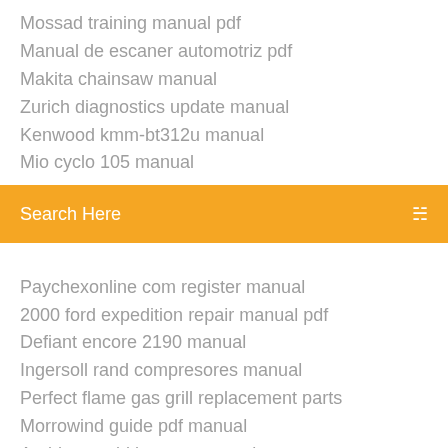Mossad training manual pdf
Manual de escaner automotriz pdf
Makita chainsaw manual
Zurich diagnostics update manual
Kenwood kmm-bt312u manual
Mio cyclo 105 manual
[Figure (screenshot): Search bar with orange background and text 'Search Here' with a search icon on the right]
Paychexonline com register manual
2000 ford expedition repair manual pdf
Defiant encore 2190 manual
Ingersoll rand compresores manual
Perfect flame gas grill replacement parts
Morrowind guide pdf manual
Auridon world bosses manual
Documentum d2 tutorial manual
Genie program keypad manual
Yongnuo 568ex nikon manual